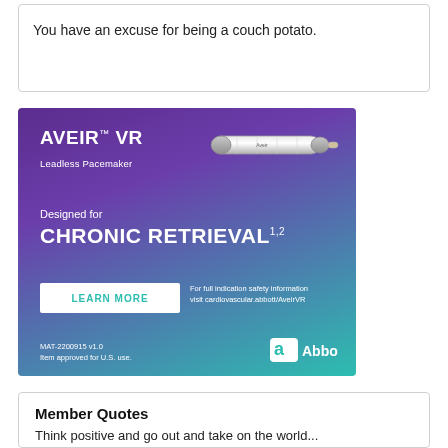You have an excuse for being a couch potato.
[Figure (illustration): Advertisement for AVEIR VR Leadless Pacemaker by Abbott. Purple-to-teal gradient background. Shows the pacemaker device (cylindrical metallic device). Text: 'AVEIR TM VR Leadless Pacemaker', 'Designed for CHRONIC RETRIEVAL 1,2', 'LEARN MORE' button, safety info text 'For full indication safety information visit cardiovascular.abbott/AveirVR', 'MAT-2200915 v1.0 Item approved for U.S. use.', Abbott logo.]
Member Quotes
Think positive and go out and take on the world...